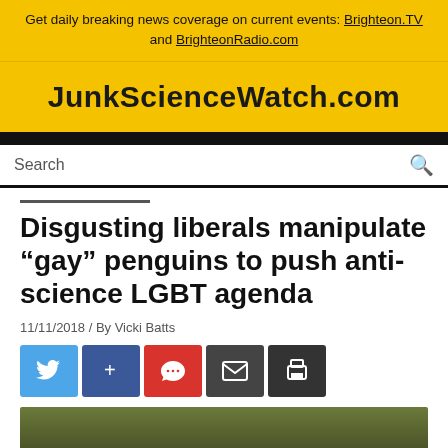Get daily breaking news coverage on current events: Brighteon.TV and BrighteonRadio.com
JunkScienceWatch.com
Search
Disgusting liberals manipulate “gay” penguins to push anti-science LGBT agenda
11/11/2018 / By Vicki Batts
[Figure (photo): Dark blurred outdoor background photo, bottom of article header]